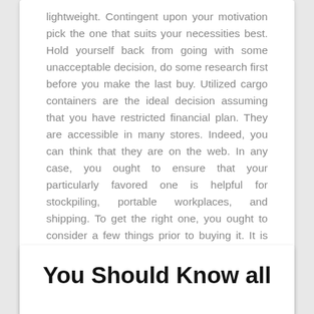lightweight. Contingent upon your motivation pick the one that suits your necessities best. Hold yourself back from going with some unacceptable decision, do some research first before you make the last buy. Utilized cargo containers are the ideal decision assuming that you have restricted financial plan. They are accessible in many stores. Indeed, you can think that they are on the web. In any case, you ought to ensure that your particularly favored one is helpful for stockpiling, portable workplaces, and shipping. To get the right one, you ought to consider a few things prior to buying it. It is realized that few utilized cargo containers could have openings and breaks that keep fluid from being put away.
You Should Know all